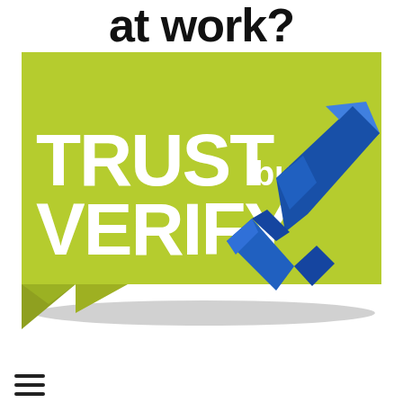at work?
[Figure (illustration): Green speech bubble / banner graphic with bold white text reading 'TRUST but VERIFY' and a large 3D blue checkmark on the right side. The banner has a folded bottom-left corner suggesting a paper/ribbon style.]
≡ (hamburger menu icon)